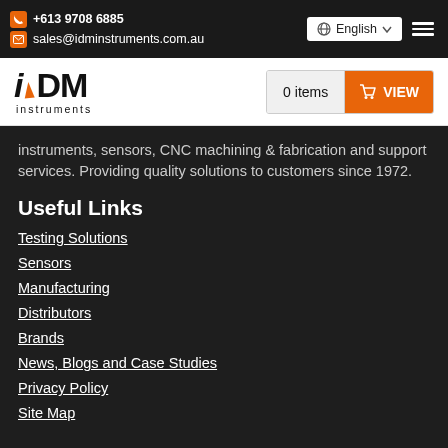+613 9708 6885 | sales@idminstruments.com.au | English
[Figure (logo): IDM Instruments logo with orange triangle accent and wordmark]
instruments, sensors, CNC machining & fabrication and support services. Providing quality solutions to customers since 1972.
Useful Links
Testing Solutions
Sensors
Manufacturing
Distributors
Brands
News, Blogs and Case Studies
Privacy Policy
Site Map